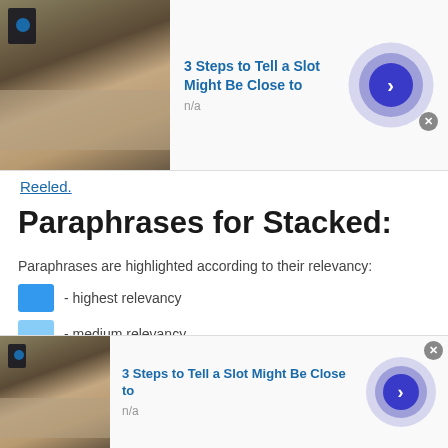[Figure (screenshot): Advertisement banner at top: thumbnail image of person, title '3 Steps to Tell a Slot Might Be Close to', subtitle 'n/a', circular play button on right]
Reeled.
Paraphrases for Stacked:
Paraphrases are highlighted according to their relevancy:
- highest relevancy
- medium relevancy
- lowest relevancy
Equivalence
Adjective
stack .
[Figure (screenshot): Advertisement banner at bottom: thumbnail image of person, title '3 Steps to Tell a Slot Might Be Close to', subtitle 'n/a', circular play button on right, close X button]